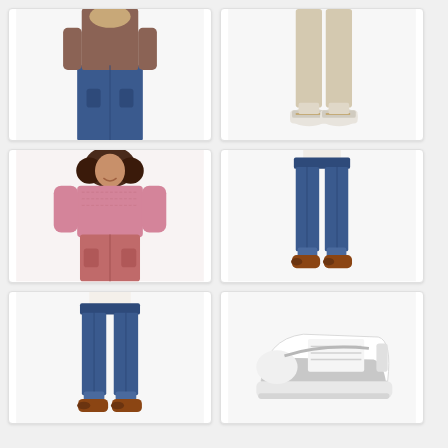[Figure (photo): Woman wearing brown short-sleeve top with high-waisted dark blue jeans, hands in pockets, against white background]
[Figure (photo): Model wearing beige/cream pants with white sneakers, lower body visible only, against white background]
[Figure (photo): Young woman smiling wearing pink knit sweater and dusty rose shorts, hands in pockets, against white background]
[Figure (photo): Woman wearing high-waisted dark blue skinny jeans with brown loafers, lower body visible, against white background]
[Figure (photo): Woman wearing high-waisted dark blue skinny jeans with brown loafers, lower body visible, against white background]
[Figure (photo): White and gray low-top sneaker/tennis shoe against white background]